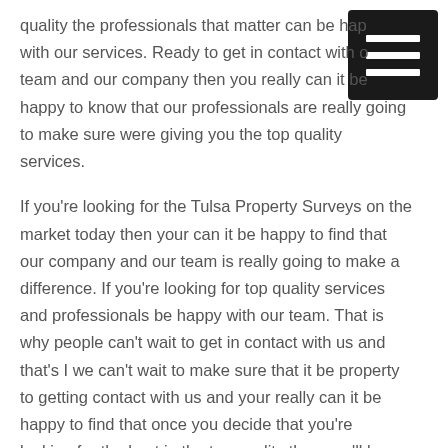quality the professionals that matter can be happy with our services. Ready to get in contact with our team and our company then you really can it be happy to know that our professionals are really going to make sure were giving you the top quality services.
If you're looking for the Tulsa Property Surveys on the market today then your can it be happy to find that our company and our team is really going to make a difference. If you're looking for top quality services and professionals be happy with our team. That is why people can't wait to get in contact with us and that's I we can't wait to make sure that it be property to getting contact with us and your really can it be happy to find that once you decide that you're looking for the best in the top quality then you'll be happy.
We can't wait to provide you with a great place to get